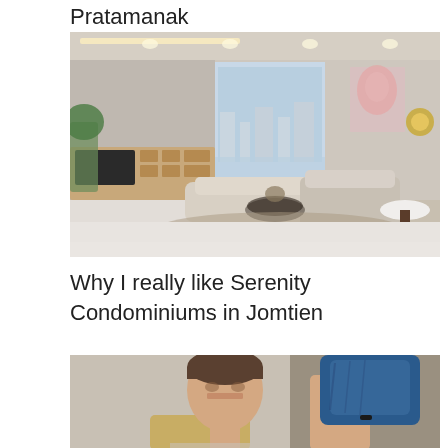Pratamanak
[Figure (photo): Interior of a luxury condominium living room with modern furniture, large TV unit, floor-to-ceiling windows with city view, a curved sofa, side tables, and warm lighting from ceiling recessed lights.]
Why I really like Serenity Condominiums in Jomtien
[Figure (photo): A man with short dark hair sitting in a chair, holding up a blue fabric item with his right hand raised. The image is cropped and shows only the upper portion.]